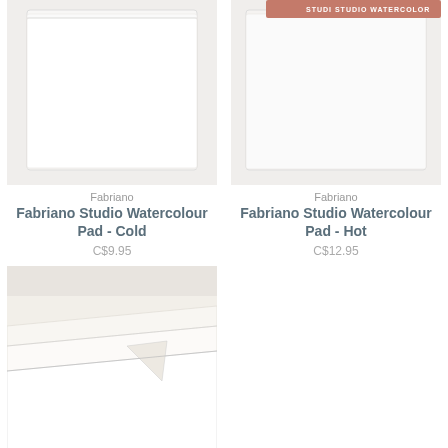[Figure (photo): Fabriano Studio Watercolour Pad - Cold Press product image (partial, top of page)]
Fabriano
Fabriano Studio Watercolour Pad - Cold
C$9.95
[Figure (photo): Fabriano Studio Watercolour Pad - Hot Press product image with Studio Watercolor logo overlay]
Fabriano
Fabriano Studio Watercolour Pad - Hot
C$12.95
[Figure (photo): Fabriano Studio Watercolour Sheet 140lb - close-up photo of stacked white watercolour paper sheets showing texture]
Fabriano
Fabriano Studio Watercolour Sheet 140lb
C$3.95